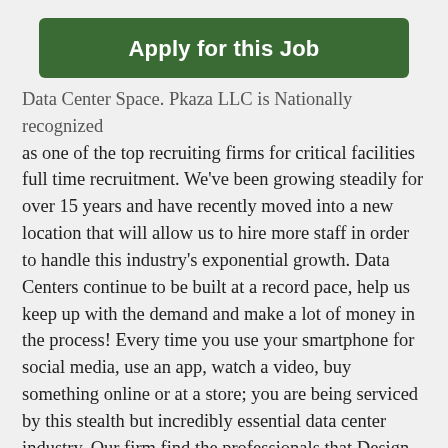Apply for this Job
Data Center Space. Pkaza LLC is Nationally recognized as one of the top recruiting firms for critical facilities full time recruitment. We've been growing steadily for over 15 years and have recently moved into a new location that will allow us to hire more staff in order to handle this industry's exponential growth. Data Centers continue to be built at a record pace, help us keep up with the demand and make a lot of money in the process! Every time you use your smartphone for social media, use an app, watch a video, buy something online or at a store; you are being serviced by this stealth but incredibly essential data center industry. Our firm find the professionals that Design, Build, Test, Operate/Maintain these buildings as well as the people that sell their services (except we don't recruit for IT).
Our customers include the biggest companies...